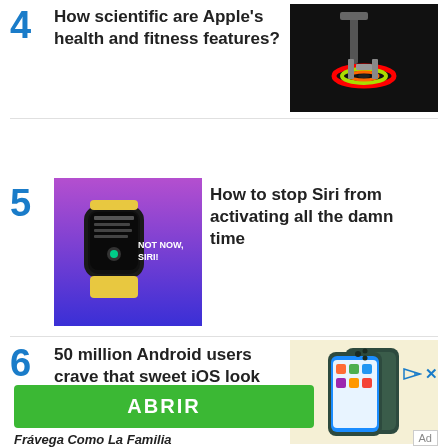4 How scientific are Apple's health and fitness features?
[Figure (photo): Dark background product photo showing colorful ring/disc device on a robotic stand]
5 How to stop Siri from activating all the damn time
[Figure (photo): Apple Watch with purple/blue gradient background showing 'NOT NOW, SIRI!' text]
6 50 million Android users crave that sweet iOS look
[Figure (photo): Green/dark Android smartphone on light yellow background]
ABRIR
Frávega Como La Familia
Ad